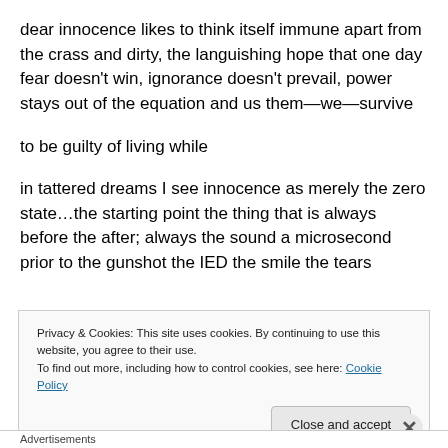dear innocence likes to think itself immune apart from the crass and dirty, the languishing hope that one day fear doesn't win, ignorance doesn't prevail, power stays out of the equation and us them—we—survive
to be guilty of living while
in tattered dreams I see innocence as merely the zero state…the starting point the thing that is always before the after; always the sound a microsecond prior to the gunshot the IED the smile the tears
Privacy & Cookies: This site uses cookies. By continuing to use this website, you agree to their use.
To find out more, including how to control cookies, see here: Cookie Policy
Close and accept
Advertisements